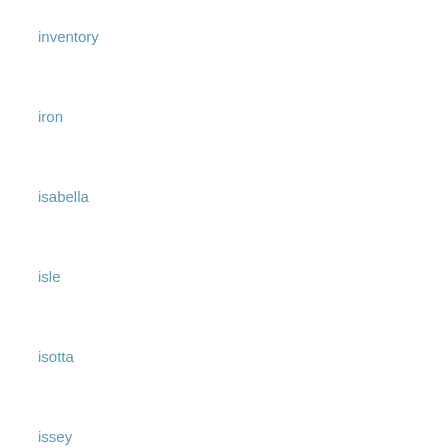inventory
iron
isabella
isle
isotta
issey
jackson
james
japanese
jaws
jetblue
john
jose
jure